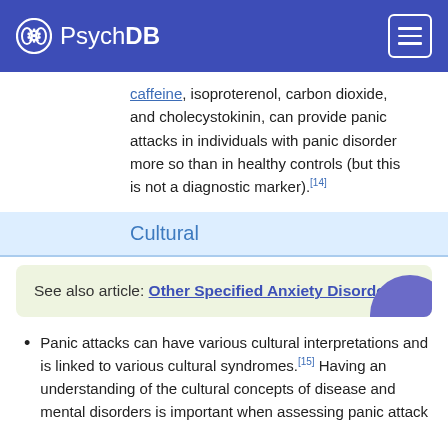PsychDB
caffeine, isoproterenol, carbon dioxide, and cholecystokinin, can provide panic attacks in individuals with panic disorder more so than in healthy controls (but this is not a diagnostic marker).[14]
Cultural
See also article: Other Specified Anxiety Disorders
Panic attacks can have various cultural interpretations and is linked to various cultural syndromes.[15] Having an understanding of the cultural concepts of disease and mental disorders is important when assessing panic attack